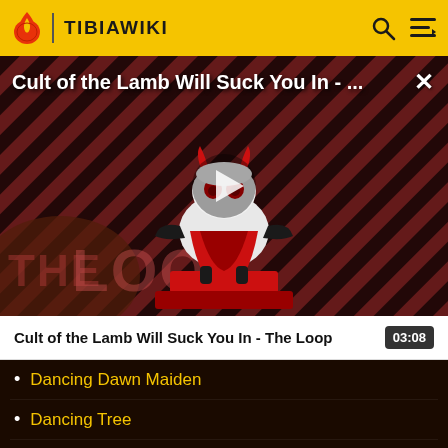TIBIAWIKI
[Figure (screenshot): Video thumbnail for 'Cult of the Lamb Will Suck You In - The Loop' showing a cartoon lamb character on a striped red/dark background with 'THE LOOP' text and a play button overlay]
Cult of the Lamb Will Suck You In - The Loop
03:08
Dancing Dawn Maiden
Dancing Tree
Dark Blue Mushroom
Dark Cypress